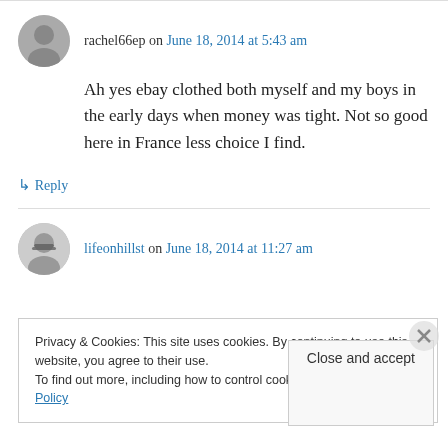rachel66ep on June 18, 2014 at 5:43 am
Ah yes ebay clothed both myself and my boys in the early days when money was tight. Not so good here in France less choice I find.
↳ Reply
lifeonhillst on June 18, 2014 at 11:27 am
Privacy & Cookies: This site uses cookies. By continuing to use this website, you agree to their use. To find out more, including how to control cookies, see here: Cookie Policy